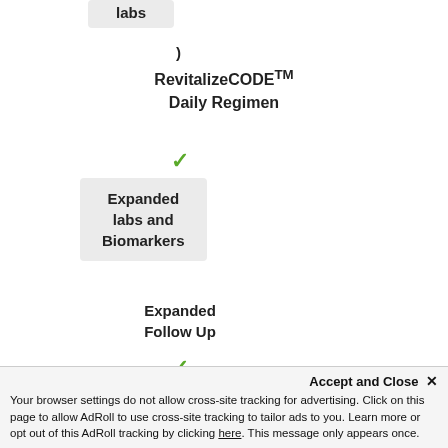labs
)
RevitalizeCODE™ Daily Regimen
[Figure (other): Green checkmark icon]
Expanded labs and Biomarkers
Expanded Follow Up
[Figure (other): Green checkmark icon]
Peptide therapy
[Figure (other): Green checkmark icon]
Priority MD Access
Accept and Close ✕
Your browser settings do not allow cross-site tracking for advertising. Click on this page to allow AdRoll to use cross-site tracking to tailor ads to you. Learn more or opt out of this AdRoll tracking by clicking here. This message only appears once.